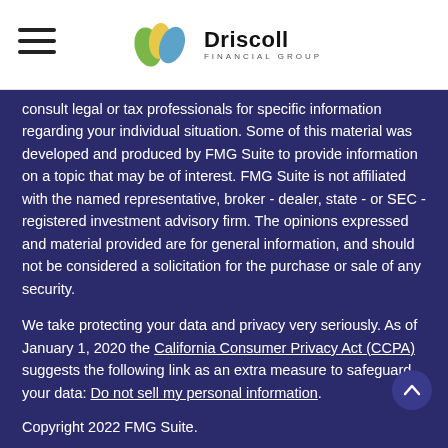Driscoll Financial Group
consult legal or tax professionals for specific information regarding your individual situation. Some of this material was developed and produced by FMG Suite to provide information on a topic that may be of interest. FMG Suite is not affiliated with the named representative, broker - dealer, state - or SEC - registered investment advisory firm. The opinions expressed and material provided are for general information, and should not be considered a solicitation for the purchase or sale of any security.
We take protecting your data and privacy very seriously. As of January 1, 2020 the California Consumer Privacy Act (CCPA) suggests the following link as an extra measure to safeguard your data: Do not sell my personal information.
Copyright 2022 FMG Suite.